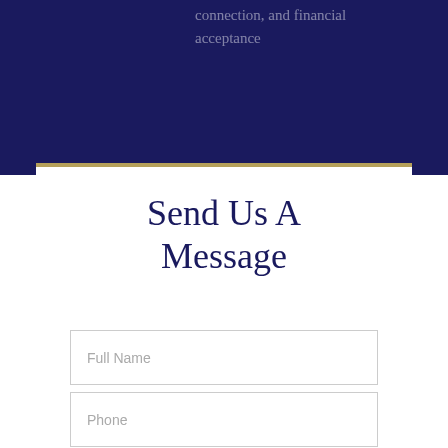connection, and financial acceptance
Send Us A Message
Full Name
Phone